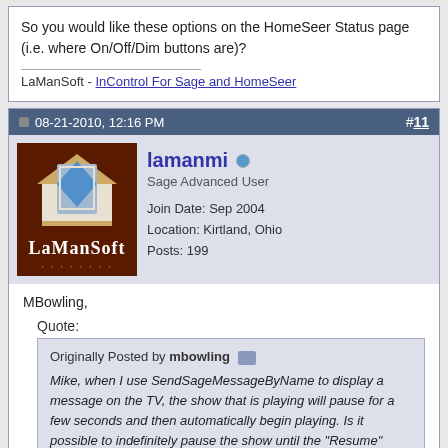So you would like these options on the HomeSeer Status page (i.e. where On/Off/Dim buttons are)?
LaManSoft - InControl For Sage and HomeSeer
08-21-2010, 12:16 PM  #11
[Figure (other): LaManSoft avatar logo: house icon with blue diamond shape on dark red background, 'LaManSoft' text below]
lamanmi
Sage Advanced User
Join Date: Sep 2004
Location: Kirtland, Ohio
Posts: 199
MBowling,
Quote:
Originally Posted by mbowling
Mike, when I use SendSageMessageByName to display a message on the TV, the show that is playing will pause for a few seconds and then automatically begin playing. Is it possible to indefinitely pause the show until the "Resume" button is manually selected?

I'm sending caller ID info to the TV. I would like to have the show paused until I'm finished speaking on the phone. Thanks!